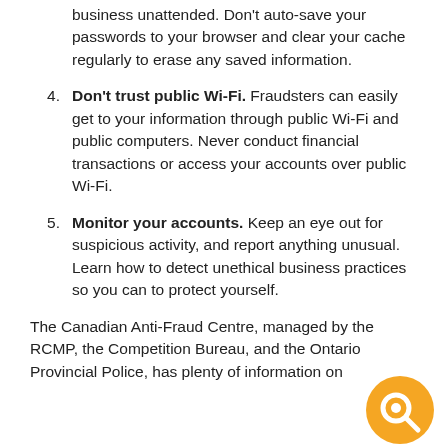business unattended. Don't auto-save your passwords to your browser and clear your cache regularly to erase any saved information.
4. Don't trust public Wi-Fi. Fraudsters can easily get to your information through public Wi-Fi and public computers. Never conduct financial transactions or access your accounts over public Wi-Fi.
5. Monitor your accounts. Keep an eye out for suspicious activity, and report anything unusual. Learn how to detect unethical business practices so you can to protect yourself.
The Canadian Anti-Fraud Centre, managed by the RCMP, the Competition Bureau, and the Ontario Provincial Police, has plenty of information on
[Figure (logo): Orange circle logo with a white speech bubble / magnifying glass icon inside]